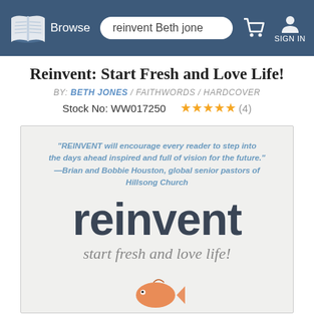[Figure (screenshot): Navigation bar with book logo, Browse link, search box with 'reinvent Beth jone', shopping cart icon, and SIGN IN button]
Reinvent: Start Fresh and Love Life!
BY: BETH JONES / FAITHWORDS / HARDCOVER
Stock No: WW017250  ★★★★★ (4)
[Figure (photo): Book cover for 'reinvent start fresh and love life!' showing a quote from Brian and Bobbie Houston, global senior pastors of Hillsong Church, the word 'reinvent' in large dark type, subtitle 'start fresh and love life!' and a partial image of a fish at the bottom]